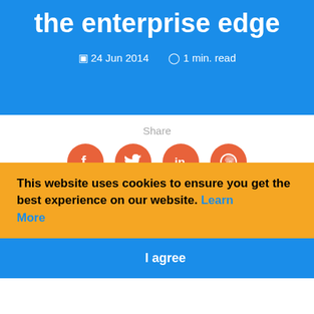the enterprise edge
24 Jun 2014   1 min. read
Share
[Figure (infographic): Four social share buttons (Facebook, Twitter, LinkedIn, WhatsApp) as orange circular icons]
This website uses cookies to ensure you get the best experience on our website.  Learn More
I agree
...industry leading network innovation, today announced powerful new capabilities in its Next-Generation Firewall (NGFW) solutions for protecting the enterprise edge, offering added security, control and efficiency while being easier to deploy and manage...